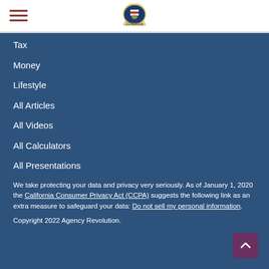U.S. Insurance Agency logo and navigation header
Tax
Money
Lifestyle
All Articles
All Videos
All Calculators
All Presentations
We take protecting your data and privacy very seriously. As of January 1, 2020 the California Consumer Privacy Act (CCPA) suggests the following link as an extra measure to safeguard your data: Do not sell my personal information.
Copyright 2022 Agency Revolution.